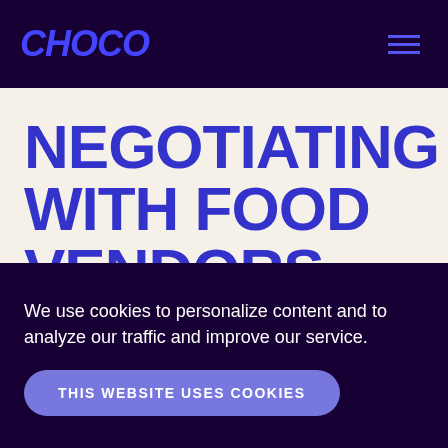CHOCO
NEGOTIATING WITH FOOD VENDORS
Ways for restaurants, cafes, and bars to manage supplier costs
We use cookies to personalize content and to analyze our traffic and improve our service.
THIS WEBSITE USES COOKIES